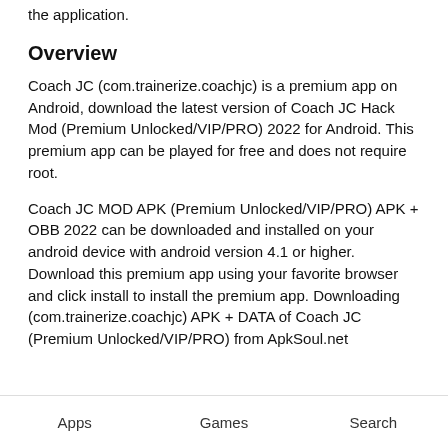the application.
Overview
Coach JC (com.trainerize.coachjc) is a premium app on Android, download the latest version of Coach JC Hack Mod (Premium Unlocked/VIP/PRO) 2022 for Android. This premium app can be played for free and does not require root.
Coach JC MOD APK (Premium Unlocked/VIP/PRO) APK + OBB 2022 can be downloaded and installed on your android device with android version 4.1 or higher. Download this premium app using your favorite browser and click install to install the premium app. Downloading (com.trainerize.coachjc) APK + DATA of Coach JC (Premium Unlocked/VIP/PRO) from ApkSoul.net
Apps    Games    Search